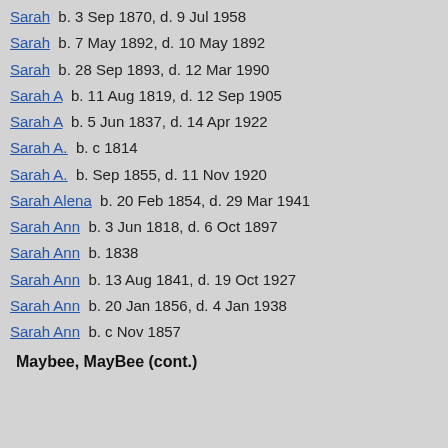Sarah  b. 3 Sep 1870, d. 9 Jul 1958
Sarah  b. 7 May 1892, d. 10 May 1892
Sarah  b. 28 Sep 1893, d. 12 Mar 1990
Sarah A  b. 11 Aug 1819, d. 12 Sep 1905
Sarah A  b. 5 Jun 1837, d. 14 Apr 1922
Sarah A.  b. c 1814
Sarah A.  b. Sep 1855, d. 11 Nov 1920
Sarah Alena  b. 20 Feb 1854, d. 29 Mar 1941
Sarah Ann  b. 3 Jun 1818, d. 6 Oct 1897
Sarah Ann  b. 1838
Sarah Ann  b. 13 Aug 1841, d. 19 Oct 1927
Sarah Ann  b. 20 Jan 1856, d. 4 Jan 1938
Sarah Ann  b. c Nov 1857
Maybee, MayBee (cont.)